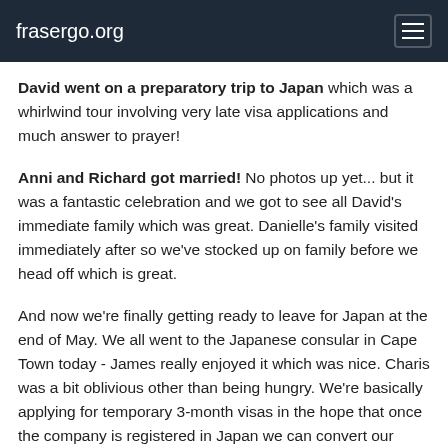frasergo.org
David went on a preparatory trip to Japan which was a whirlwind tour involving very late visa applications and much answer to prayer!
Anni and Richard got married! No photos up yet... but it was a fantastic celebration and we got to see all David's immediate family which was great. Danielle's family visited immediately after so we've stocked up on family before we head off which is great.
And now we're finally getting ready to leave for Japan at the end of May. We all went to the Japanese consular in Cape Town today - James really enjoyed it which was nice. Charis was a bit oblivious other than being hungry. We're basically applying for temporary 3-month visas in the hope that once the company is registered in Japan we can convert our status while we're there. Danielle gets such a visa automatically being British; the rest of